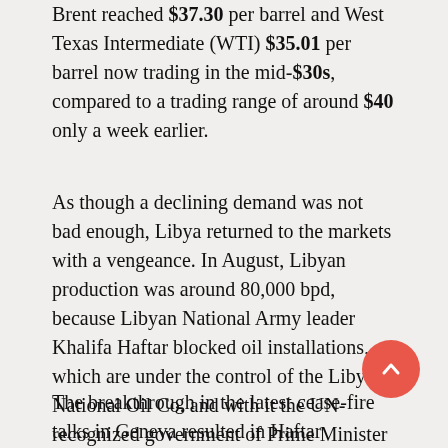Brent reached $37.30 per barrel and West Texas Intermediate (WTI) $35.01 per barrel now trading in the mid-$30s, compared to a trading range of around $40 only a week earlier.
As though a declining demand was not bad enough, Libya returned to the markets with a vengeance. In August, Libyan production was around 80,000 bpd, because Libyan National Army leader Khalifa Haftar blocked oil installations, which are under the control of the Libyan National Oil Co. and with it the UN-recognized government of Prime Minister Fayez Al-Sarraj.
The breakthrough in the latest cease-fire talks in Geneva resulted in Haftar allowing the oil to flow again. Production neared the 600,000-bpd mark and